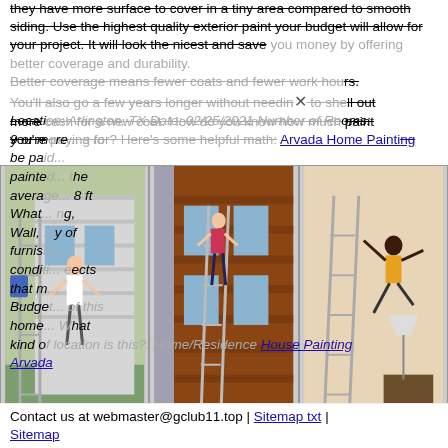they have more surface to cover in a tiny area compared to smooth siding. Use the highest quality exterior paint your budget will allow for your project. It will look the nicest and save you money by offering better coverage and durability. Better coverage means fewer coats and fewer work hours. You'll also go a few years longer without needing to shell out more cash for a new coat. How do you know how much paint you're paying for? Here's some helpful math: Arvada Home Painting
Location: Arlington, TX Date: 02/25/2021 Number of Rooms: 9 or more... to be pa... painted... the average... 8 ft What... ng, Wall,... of furnis... conditi... ects that m... Budget... of this home... What kind of location is this?: Home/Residence House Painting Arvada
[Figure (photo): Three photos side by side showing people on ladders painting house exteriors and one indoor scene]
Contact us at webmaster@gclub11.top | Sitemap txt | Sitemap